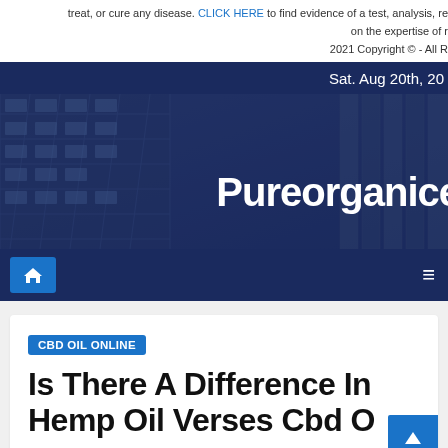treat, or cure any disease. CLICK HERE to find evidence of a test, analysis, re on the expertise of r
2021 Copyright © - All R
Sat. Aug 20th, 20
[Figure (photo): Dark blue-tinted photo of glass skyscraper windows from below, with the website name 'Pureorganice' in large bold white text overlaid on the right side]
[Figure (screenshot): Dark navy navigation bar with a blue home button icon on the left and a hamburger/menu icon on the right]
CBD OIL ONLINE
Is There A Difference In Hemp Oil Verses Cbd O